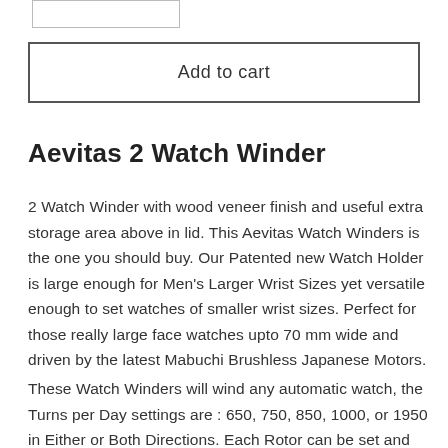[Figure (other): Small input box / quantity selector at top left]
Add to cart
Aevitas 2 Watch Winder
2 Watch Winder with wood veneer finish and useful extra storage area above in lid. This Aevitas Watch Winders is the one you should buy. Our Patented new Watch Holder is large enough for Men's Larger Wrist Sizes yet versatile enough to set watches of smaller wrist sizes. Perfect for those really large face watches upto 70 mm wide and driven by the latest Mabuchi Brushless Japanese Motors.
These Watch Winders will wind any automatic watch, the Turns per Day settings are : 650, 750, 850, 1000, or 1950 in Either or Both Directions. Each Rotor can be set and